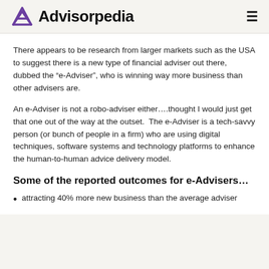Advisorpedia
There appears to be research from larger markets such as the USA to suggest there is a new type of financial adviser out there, dubbed the “e-Adviser”, who is winning way more business than other advisers are.
An e-Adviser is not a robo-adviser either….thought I would just get that one out of the way at the outset. The e-Adviser is a tech-savvy person (or bunch of people in a firm) who are using digital techniques, software systems and technology platforms to enhance the human-to-human advice delivery model.
Some of the reported outcomes for e-Advisers…
attracting 40% more new business than the average adviser